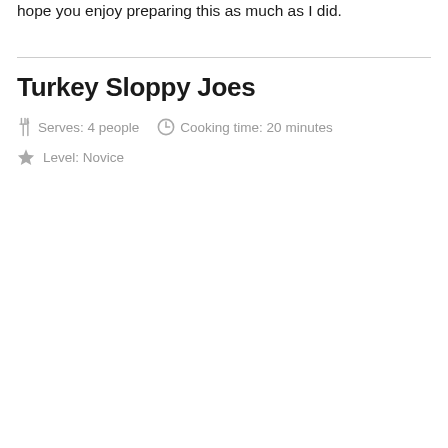hope you enjoy preparing this as much as I did.
Turkey Sloppy Joes
Serves: 4 people   Cooking time: 20 minutes
Level: Novice